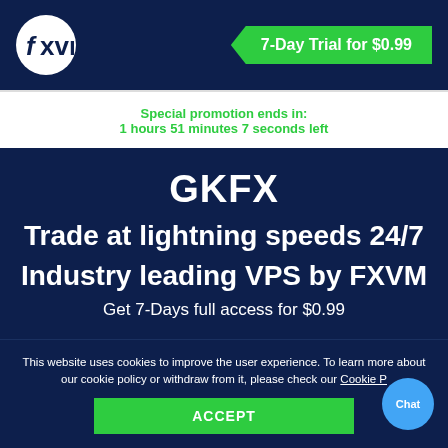[Figure (logo): FXVM logo: white circle with 'fxvm' text in dark navy, italic f]
7-Day Trial for $0.99
Special promotion ends in:
1 hours 51 minutes 7 seconds left
GKFX
Trade at lightning speeds 24/7
Industry leading VPS by FXVM
Get 7-Days full access for $0.99
This website uses cookies to improve the user experience. To learn more about our cookie policy or withdraw from it, please check our Cookie P
ACCEPT